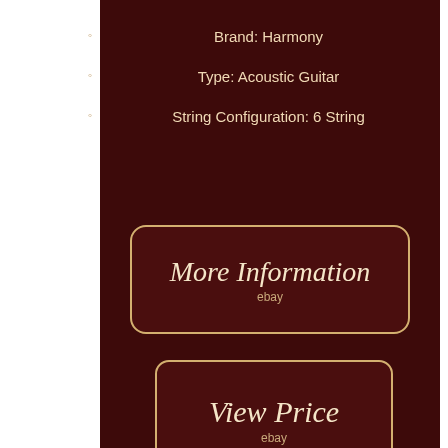Brand: Harmony
Type: Acoustic Guitar
String Configuration: 6 String
[Figure (screenshot): More Information button with ebay label]
[Figure (screenshot): View Price button with ebay label]
[Figure (screenshot): Facebook Like button]
[Figure (screenshot): Social share icons: Facebook, Twitter, Pinterest, Email]
[Figure (screenshot): Search bar with Search button]